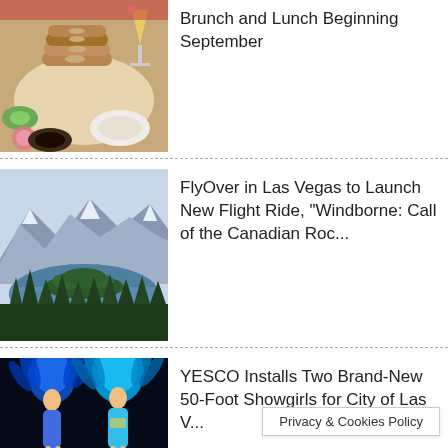[Figure (photo): Stack of bagels on a plate with a cocktail glass and brunch food spread]
Brunch and Lunch Beginning September
[Figure (photo): Scenic mountain lake with forested islands and mountains in the background, Canadian Rockies]
FlyOver in Las Vegas to Launch New Flight Ride, "Windborne: Call of the Canadian Roc...
[Figure (photo): Two illuminated showgirl figures in blue feathered costumes against a dark background]
YESCO Installs Two Brand-New 50-Foot Showgirls for City of Las V...
Privacy & Cookies Policy